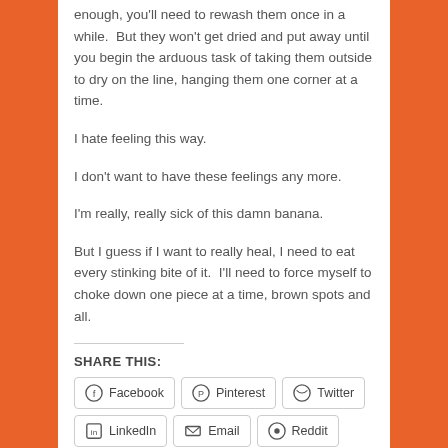enough, you'll need to rewash them once in a while.  But they won't get dried and put away until you begin the arduous task of taking them outside to dry on the line, hanging them one corner at a time.
I hate feeling this way.
I don't want to have these feelings any more.
I'm really, really sick of this damn banana.
But I guess if I want to really heal, I need to eat every stinking bite of it.  I'll need to force myself to choke down one piece at a time, brown spots and all.
SHARE THIS:
Facebook | Pinterest | Twitter | LinkedIn | Email | Reddit | StumbleUpon | More